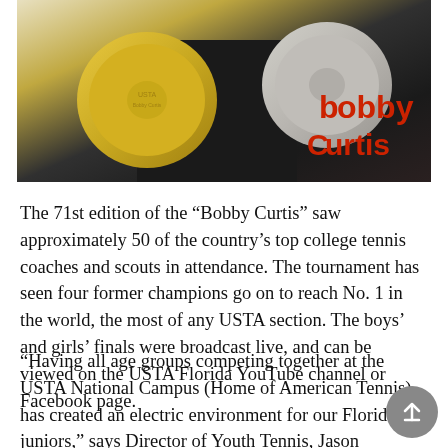[Figure (photo): Photo of a person holding two large golden/silver plates/platters, with a red 'Bobby Curtis' text banner visible in the background on the right side.]
The 71st edition of the “Bobby Curtis” saw approximately 50 of the country’s top college tennis coaches and scouts in attendance. The tournament has seen four former champions go on to reach No. 1 in the world, the most of any USTA section. The boys’ and girls’ finals were broadcast live, and can be viewed on the USTA Florida YouTube channel or Facebook page.
“Having all age groups competing together at the USTA National Campus (Home of American Tennis) has created an electric environment for our Florida juniors,” says Director of Youth Tennis, Jason